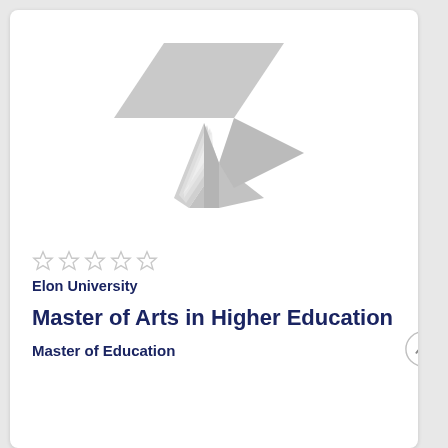[Figure (logo): Gray stylized logo of an open book with a play/arrow shape above it, representing an educational platform or university branding.]
☆ ☆ ☆ ☆ ☆
Elon University
Master of Arts in Higher Education
Master of Education